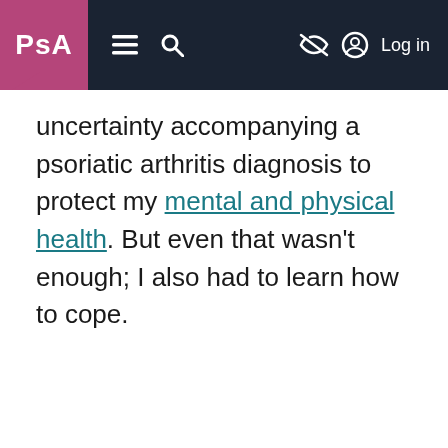PsA [logo] [menu] [search] [hide] [user] Log in
uncertainty accompanying a psoriatic arthritis diagnosis to protect my mental and physical health. But even that wasn't enough; I also had to learn how to cope.